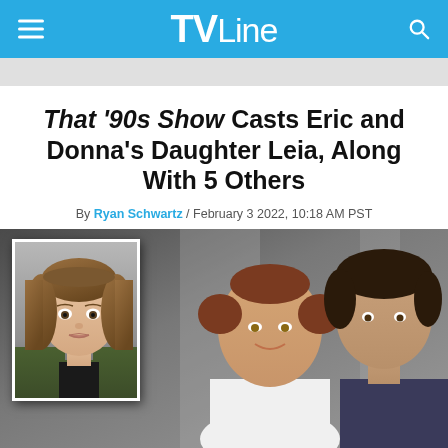TVLine
That '90s Show Casts Eric and Donna's Daughter Leia, Along With 5 Others
By Ryan Schwartz / February 3 2022, 10:18 AM PST
[Figure (photo): Composite image: inset photo of a young actress with short brown hair on a larger background photo showing a woman with Princess Leia buns hairstyle and a man with dark hair, likely from a TV show or film still.]